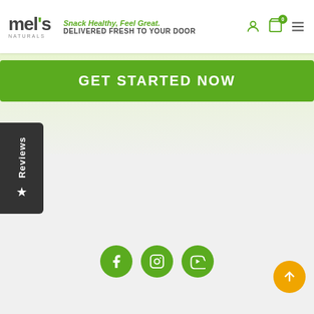mel's Naturals — Snack Healthy, Feel Great. DELIVERED FRESH TO YOUR DOOR
GET STARTED NOW
[Figure (other): Reviews tab with star icon on left side of page]
[Figure (other): Social media icons: Facebook, Instagram, YouTube]
[Figure (other): Back-to-top orange circular button with upward arrow]